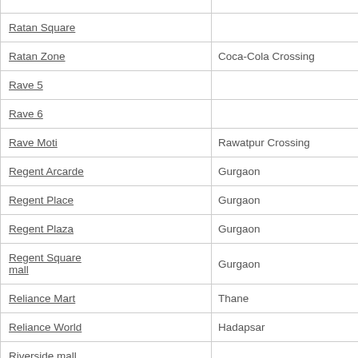| Mall Name | Location |
| --- | --- |
| Ratan Square |  |
| Ratan Zone | Coca-Cola Crossing |
| Rave 5 |  |
| Rave 6 |  |
| Rave Moti | Rawatpur Crossing |
| Regent Arcarde | Gurgaon |
| Regent Place | Gurgaon |
| Regent Plaza | Gurgaon |
| Regent Square mall | Gurgaon |
| Reliance Mart | Thane |
| Reliance World | Hadapsar |
| Riverside mall |  |
| RNA NG Mall | Mumbai |